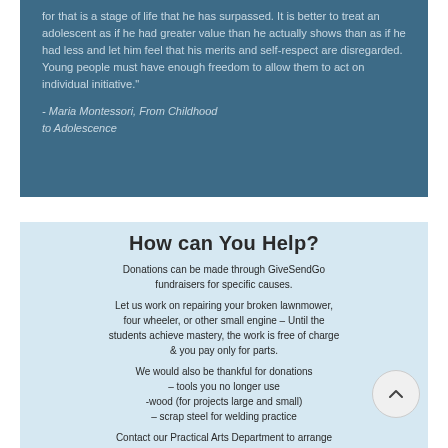for that is a stage of life that he has surpassed. It is better to treat an adolescent as if he had greater value than he actually shows than as if he had less and let him feel that his merits and self-respect are disregarded.
Young people must have enough freedom to allow them to act on individual initiative."
- Maria Montessori, From Childhood to Adolescence
How can You Help?
Donations can be made through GiveSendGo fundraisers for specific causes.
Let us work on repairing your broken lawnmower, four wheeler, or other small engine – Until the students achieve mastery, the work is free of charge & you pay only for parts.
We would also be thankful for donations – tools you no longer use -wood (for projects large and small) – scrap steel for welding practice
Contact our Practical Arts Department to arrange for pick-up/drop-off
All donations to St. Anthonys are tax deductable. We will provide a letter to you for tax deduction purposes.